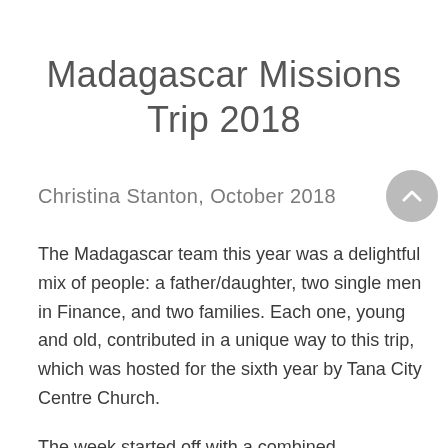Madagascar Missions Trip 2018
Christina Stanton, October 2018
The Madagascar team this year was a delightful mix of people: a father/daughter, two single men in Finance, and two families. Each one, young and old, contributed in a unique way to this trip, which was hosted for the sixth year by Tana City Centre Church.
The week started off with a combined